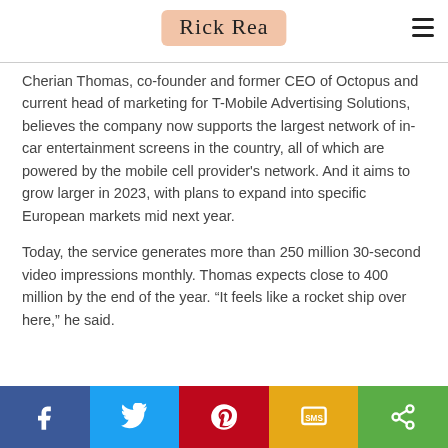Rick Rea
Cherian Thomas, co-founder and former CEO of Octopus and current head of marketing for T-Mobile Advertising Solutions, believes the company now supports the largest network of in-car entertainment screens in the country, all of which are powered by the mobile cell provider's network. And it aims to grow larger in 2023, with plans to expand into specific European markets mid next year.
Today, the service generates more than 250 million 30-second video impressions monthly. Thomas expects close to 400 million by the end of the year. “It feels like a rocket ship over here,” he said.